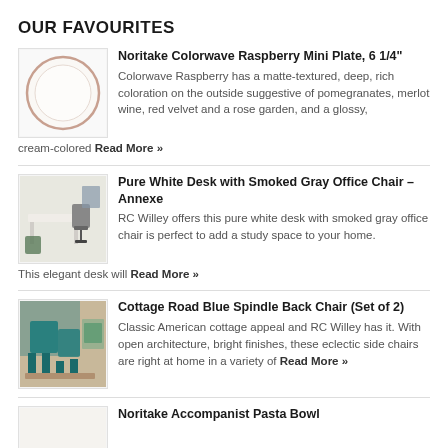OUR FAVOURITES
[Figure (photo): Round white plate with subtle rim, Noritake Colorwave Raspberry Mini Plate]
Noritake Colorwave Raspberry Mini Plate, 6 1/4" Colorwave Raspberry has a matte-textured, deep, rich coloration on the outside suggestive of pomegranates, merlot wine, red velvet and a rose garden, and a glossy, cream-colored Read More »
[Figure (photo): White desk with smoked gray office chair in a home office setting]
Pure White Desk with Smoked Gray Office Chair – Annexe RC Willey offers this pure white desk with smoked gray office chair is perfect to add a study space to your home. This elegant desk will Read More »
[Figure (photo): Blue spindle back chairs around a table in a cottage setting]
Cottage Road Blue Spindle Back Chair (Set of 2) Classic American cottage appeal and RC Willey has it. With open architecture, bright finishes, these eclectic side chairs are right at home in a variety of Read More »
[Figure (photo): Noritake Accompanist Pasta Bowl product image]
Noritake Accompanist Pasta Bowl